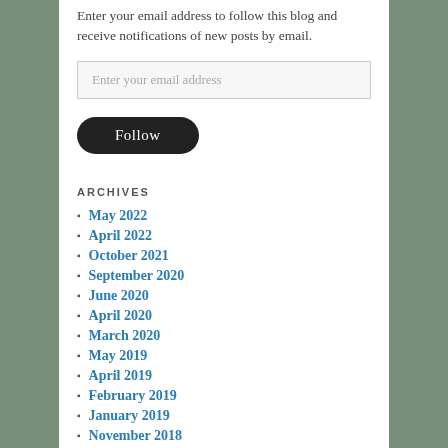Enter your email address to follow this blog and receive notifications of new posts by email.
Enter your email address
Follow
ARCHIVES
May 2022
April 2022
October 2021
September 2020
June 2020
April 2020
March 2020
May 2019
April 2019
February 2019
January 2019
November 2018
October 2018